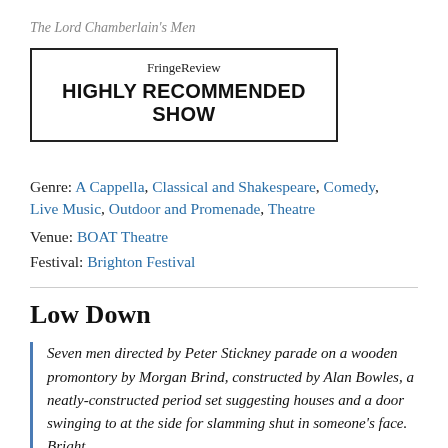The Lord Chamberlain's Men
[Figure (other): FringeReview HIGHLY RECOMMENDED SHOW badge/logo in a black border box]
Genre: A Cappella, Classical and Shakespeare, Comedy, Live Music, Outdoor and Promenade, Theatre
Venue: BOAT Theatre
Festival: Brighton Festival
Low Down
Seven men directed by Peter Stickney parade on a wooden promontory by Morgan Brind, constructed by Alan Bowles, a neatly-constructed period set suggesting houses and a door swinging to at the side for slamming shut in someone's face. Bright